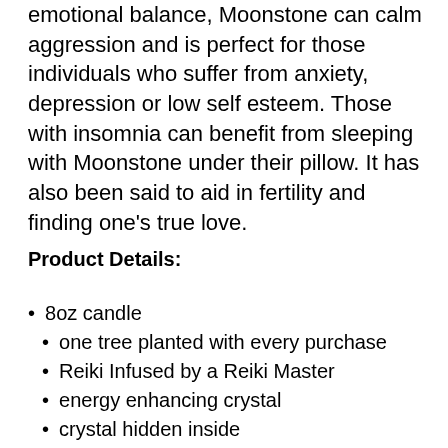emotional balance, Moonstone can calm aggression and is perfect for those individuals who suffer from anxiety, depression or low self esteem. Those with insomnia can benefit from sleeping with Moonstone under their pillow. It has also been said to aid in fertility and finding one's true love.
Product Details:
8oz candle
one tree planted with every purchase
Reiki Infused by a Reiki Master
energy enhancing crystal
crystal hidden inside